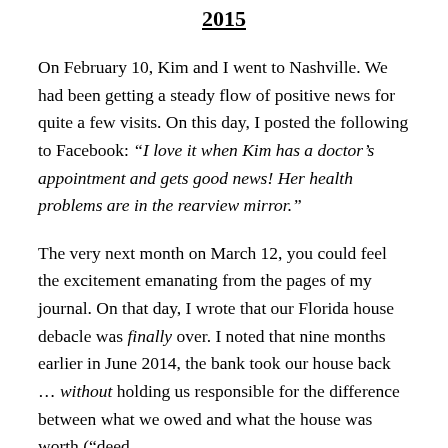2015
On February 10, Kim and I went to Nashville. We had been getting a steady flow of positive news for quite a few visits. On this day, I posted the following to Facebook: “I love it when Kim has a doctor’s appointment and gets good news! Her health problems are in the rearview mirror.”
The very next month on March 12, you could feel the excitement emanating from the pages of my journal. On that day, I wrote that our Florida house debacle was finally over. I noted that nine months earlier in June 2014, the bank took our house back … without holding us responsible for the difference between what we owed and what the house was worth (“deed